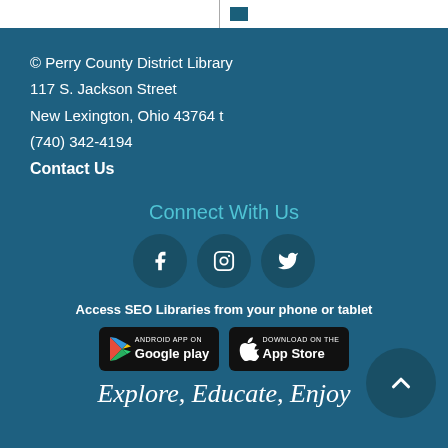© Perry County District Library
117 S. Jackson Street
New Lexington, Ohio 43764 t
(740) 342-4194
Contact Us
Connect With Us
[Figure (infographic): Three social media icons: Facebook, Instagram, Twitter — circular dark teal buttons with white icons]
Access SEO Libraries from your phone or tablet
[Figure (infographic): Two app store download buttons: Google Play and Apple App Store]
Explore, Educate, Enjoy